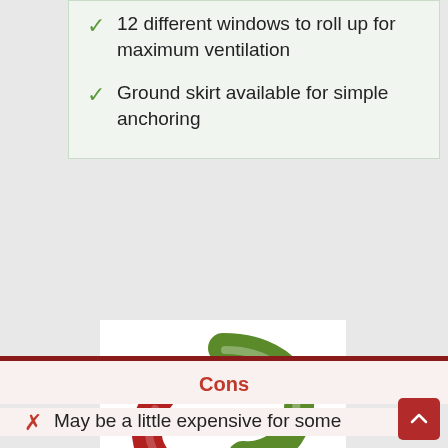12 different windows to roll up for maximum ventilation
Ground skirt available for simple anchoring
[Figure (illustration): Two curved arrows forming a cycle — one green pointing clockwise (upper) and one red pointing counter-clockwise (lower), overlapping in the center.]
Cons
May be a little expensive for some